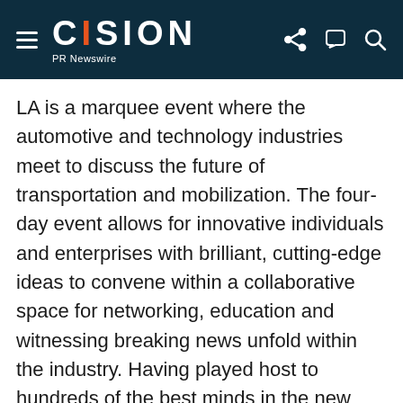CISION PR Newswire
LA is a marquee event where the automotive and technology industries meet to discuss the future of transportation and mobilization. The four-day event allows for innovative individuals and enterprises with brilliant, cutting-edge ideas to convene within a collaborative space for networking, education and witnessing breaking news unfold within the industry. Having played host to hundreds of the best minds in the new mobility movement, including 2015 keynote speaker Co-Founder and President of Lyft John Zimmer, AutoMobility LA grants attendees unprecedented access to opportunities that make ambitious dreams a reality.